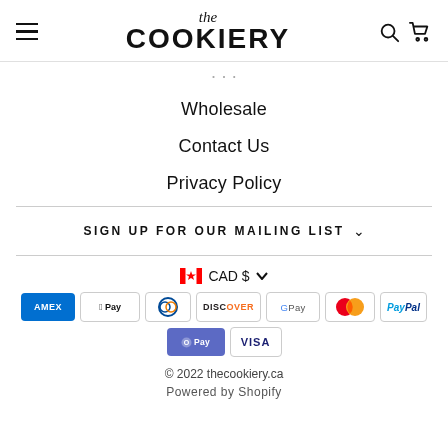The Cookiery
Wholesale
Contact Us
Privacy Policy
SIGN UP FOR OUR MAILING LIST
CAD $
[Figure (other): Payment method icons: American Express, Apple Pay, Diners Club, Discover, Google Pay, Mastercard, PayPal, Shop Pay, Visa]
© 2022 thecookiery.ca
Powered by Shopify